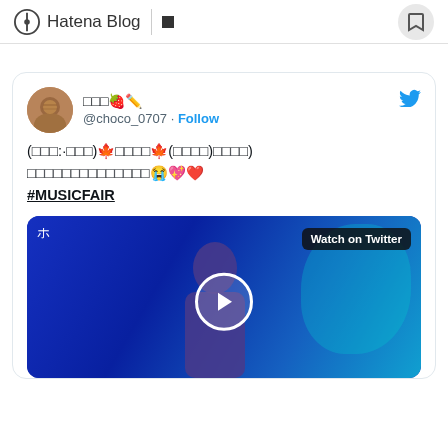Hatena Blog
[Figure (screenshot): Tweet from @choco_0707 with Japanese text, maple leaf emoji, crying/heart emojis, hashtag #MUSICFAIR, and a video thumbnail showing a woman on a blue-toned TV set with 'Watch on Twitter' badge and play button.]